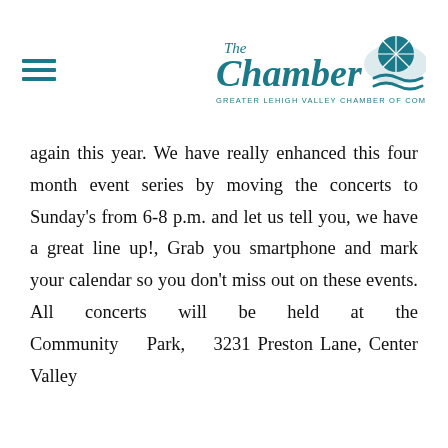The Chamber — Greater Lehigh Valley Chamber of Commerce
again this year. We have really enhanced this four month event series by moving the concerts to Sunday's from 6-8 p.m. and let us tell you, we have a great line up!, Grab you smartphone and mark your calendar so you don't miss out on these events. All concerts will be held at the Community Park, 3231 Preston Lane, Center Valley